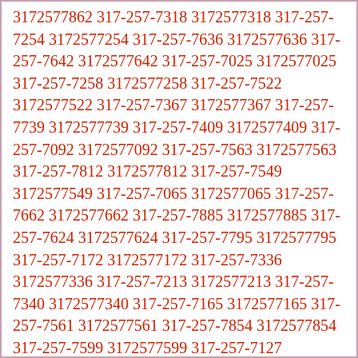3172577862 317-257-7318 3172577318 317-257-7254 3172577254 317-257-7636 3172577636 317-257-7642 3172577642 317-257-7025 3172577025 317-257-7258 3172577258 317-257-7522 3172577522 317-257-7367 3172577367 317-257-7739 3172577739 317-257-7409 3172577409 317-257-7092 3172577092 317-257-7563 3172577563 317-257-7812 3172577812 317-257-7549 3172577549 317-257-7065 3172577065 317-257-7662 3172577662 317-257-7885 3172577885 317-257-7624 3172577624 317-257-7795 3172577795 317-257-7172 3172577172 317-257-7336 3172577336 317-257-7213 3172577213 317-257-7340 3172577340 317-257-7165 3172577165 317-257-7561 3172577561 317-257-7854 3172577854 317-257-7599 3172577599 317-257-7127 3172577127 317-257-7017 3172577017 317-257-7129 3172577129 317-257-7749 3172577749 317-257-7742 3172577742 317-257-7800 3172577800 317-257-7000 3172577000 317-